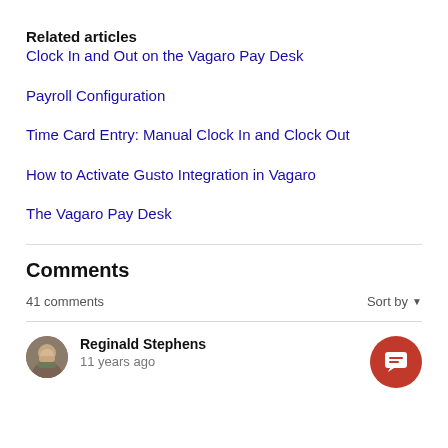Related articles
Clock In and Out on the Vagaro Pay Desk
Payroll Configuration
Time Card Entry: Manual Clock In and Clock Out
How to Activate Gusto Integration in Vagaro
The Vagaro Pay Desk
Comments
41 comments
Sort by
Reginald Stephens
11 years ago